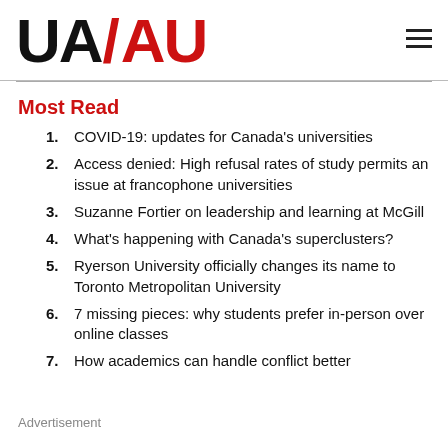UA/AU logo and navigation menu
Most Read
COVID-19: updates for Canada's universities
Access denied: High refusal rates of study permits an issue at francophone universities
Suzanne Fortier on leadership and learning at McGill
What's happening with Canada's superclusters?
Ryerson University officially changes its name to Toronto Metropolitan University
7 missing pieces: why students prefer in-person over online classes
How academics can handle conflict better
Advertisement